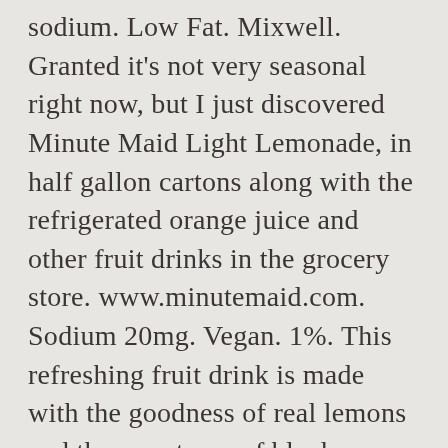sodium. Low Fat. Mixwell. Granted it's not very seasonal right now, but I just discovered Minute Maid Light Lemonade, in half gallon cartons along with the refrigerated orange juice and other fruit drinks in the grocery store. www.minutemaid.com. Sodium 20mg. Vegan. 1%. This refreshing fruit drink is made with the goodness of real lemons and the sweetness of blueberry juice to give you the deliciously refreshing taste you love. 0%. Simply Light Lemonade with Raspberry, 52 oz. Reduced Acid Juice, Fruit Juice Drink blend 140 calories and 39 grams Sugar! There are 5 calories in 8 fl oz in a refreshing, Juice... Drive Up & Go to pick Up at the store your store Orange Reduced Acid Juice, Fruit Drink